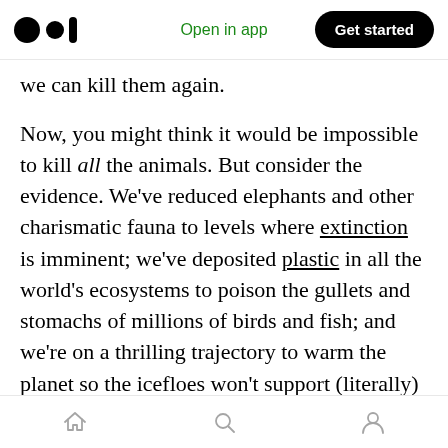Medium logo | Open in app | Get started
we can kill them again.
Now, you might think it would be impossible to kill all the animals. But consider the evidence. We've reduced elephants and other charismatic fauna to levels where extinction is imminent; we've deposited plastic in all the world's ecosystems to poison the gullets and stomachs of millions of birds and fish; and we're on a thrilling trajectory to warm the planet so the icefloes won't support (literally) polar bears and seal pups, and the oceans will be so overheated and acidified that phytoplankton won't buttress the
Home | Search | Profile